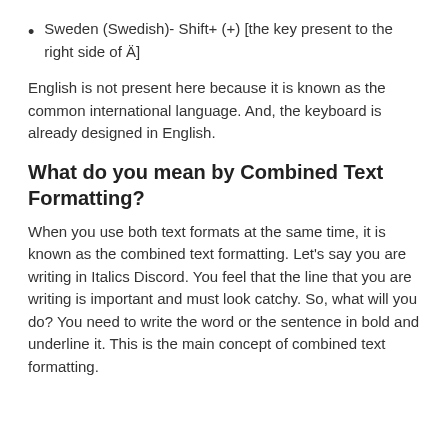Sweden (Swedish)- Shift+ (+) [the key present to the right side of Ä]
English is not present here because it is known as the common international language. And, the keyboard is already designed in English.
What do you mean by Combined Text Formatting?
When you use both text formats at the same time, it is known as the combined text formatting. Let's say you are writing in Italics Discord. You feel that the line that you are writing is important and must look catchy. So, what will you do? You need to write the word or the sentence in bold and underline it. This is the main concept of combined text formatting.